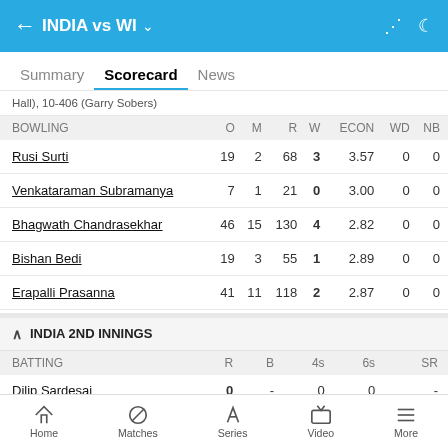INDIA vs WI
Summary  Scorecard  News
Hall), 10-406 (Garry Sobers)
| BOWLING | O | M | R | W | ECON | WD | NB |
| --- | --- | --- | --- | --- | --- | --- | --- |
| Rusi Surti | 19 | 2 | 68 | 3 | 3.57 | 0 | 0 |
| Venkataraman Subramanya | 7 | 1 | 21 | 0 | 3.00 | 0 | 0 |
| Bhagwath Chandrasekhar | 46 | 15 | 130 | 4 | 2.82 | 0 | 0 |
| Bishan Bedi | 19 | 3 | 55 | 1 | 2.89 | 0 | 0 |
| Erapalli Prasanna | 41 | 11 | 118 | 2 | 2.87 | 0 | 0 |
INDIA 2ND INNINGS
| BATTING | R | B | 4s | 6s | SR |
| --- | --- | --- | --- | --- | --- |
| Dilip Sardesai | 0 | - | 0 | 0 | - |
Home  Matches  Series  Video  More